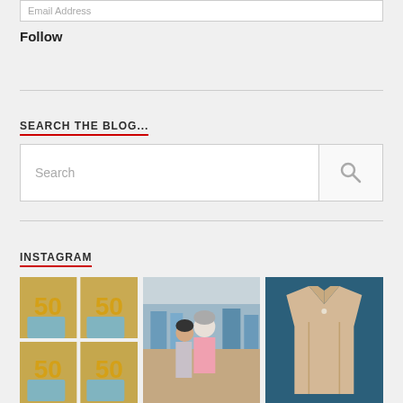Email Address
Follow
SEARCH THE BLOG...
Search
INSTAGRAM
[Figure (photo): Instagram photo grid showing: left - collage of a person posing with gold '50' balloons, center - couple outdoors near seaside buildings, right - beige/tan collared shirt on blue background]
[Figure (photo): Middle Instagram photo: a man with grey hair and a woman with dark hair smiling outdoors with colourful buildings behind]
[Figure (photo): Right Instagram photo: a folded beige/tan collared shirt against a dark teal/blue background]